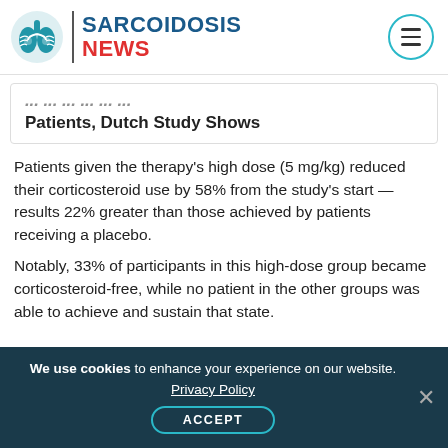SARCOIDOSIS NEWS
Patients, Dutch Study Shows
Patients given the therapy's high dose (5 mg/kg) reduced their corticosteroid use by 58% from the study's start — results 22% greater than those achieved by patients receiving a placebo.
Notably, 33% of participants in this high-dose group became corticosteroid-free, while no patient in the other groups was able to achieve and sustain that state.
We use cookies to enhance your experience on our website. Privacy Policy ACCEPT